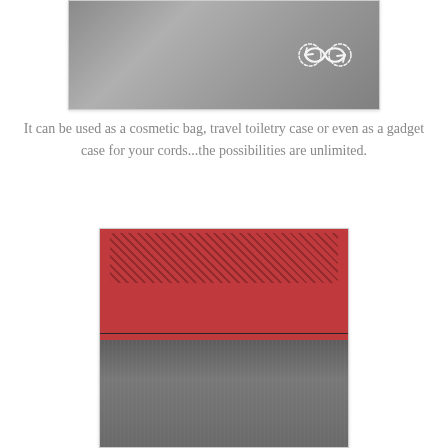[Figure (photo): A gray mesh cosmetic/toiletry bag shown from the front, with a white infinity-loop logo on the upper right side.]
It can be used as a cosmetic bag, travel toiletry case or even as a gadget case for your cords...the possibilities are unlimited.
[Figure (photo): The same gray bag open, showing a red interior with a black mesh zipper pocket inside the lid, and a black zipper separating the two halves.]